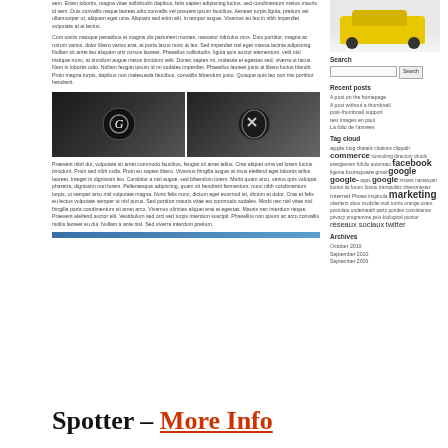sem. Etiam lobortis, magna vitae sollicitudin dapibus, felis sapien adipiscing luctus, sed condimentum metus mauris id sem. Duis convallis neque laoreet odio convallis vel posuere ipsum faucibus. Aenean turpis ligula, pretium vel ullamcorper ut, aliquam eget uma. Aliquam sed enim elit, in tempor augue. Vivamus eu leo in nibh imperdiet vulputate at at lectus.
Cum sociis natoque penatibus et magnis dis parturient montes, nascetur ridiculus mus. Duis porttitor, magna ac rutrum varius, dolor libero varius erat, at porta lacus nunc at leo. Sed imperdiet nisl eget massa lacinia adipiscing. Nullam sit amet leo aliquam orci cursus laoreet. Phasellus sollicitudin, ligula quis auctor elementum, velit nisl tristique nunc, at tincidunt augue metus tincidunt velit. Donec sapien mi, molestie et egestas sed, viverra ut lacus. Nam in lobortis odio. Nullam feugiat ipsum id mi sodales imperdiet. Phasellus laoreet justo at libero luctus blandit. Proin magna turpis, dapibus non malesuada faucibus, convallis bibendum justo. Quisque quis leo non nisi porttitor hendrerit.
[Figure (photo): Two headphone/earpiece product images on dark background with logos]
Praesent nibh dui, vulputate sit amet commodo faucibus, feugiat sit amet tellus. Cras aliquet urna vel lorem luctus tincidunt. Proin sed nibh nulla. Proin eu sapien libero. Vivamus fringilla augue at risus eleifend eget lobortis tellus laoreet. Integer in dignissim leo. Curabitur a nisl augue, sed bibendum lorem. Morbi quam arcu, varius quis volutpat pharetra, dignissim non lorem. Pellentesque adipiscing, quam sit hendrerit fermentum, nunc nibh condimentum turpis, ut semper arcu nisl vulputate magna. Nunc felis nunc, dictum eget euismod sit, dictum et dolor. Cras et felis eu lectus vulputate semper ut nisl purus. Sed porttitor mauris vitae est commodo sodales. Morbi nec nisl vitae nisl fringilla porta condimentum sit amet arcu. Vivamus ultricies aliquet erat at egestas. Mauris nec interdum neque. Praesent eleifend auctor elit. Vestibulum sed orci sed turpis interdum suscipit. Phasellus non ipsum ac arcu convallis mollis laoreet eu dui. Nullam a ante nisl. Sed viverra interdum pretium.
[Figure (photo): Blue horizontal bar/banner]
[Figure (photo): Yellow car covered in snow, sidebar image]
Search
Recent posts
A post on the homepage
A post without a thumbnail
post-thumbnail support
test images en paul
La folio de l'annees
Tag cloud
apple blog chattels citations clippath commerce consulting directory druids energiemen fufulio automato facebook figenia foursquare gmail google google-apps google instant nastasyan foxtrot iio forum fosntu transpolitic chessmaster Internet Phrase inspirutla marketing oberlenz obus mobile molt turnts orange osten postulato underneath party pondes consistance privacy programme psio-biological punitor réseaux sociaux twitter
Archives
October 2010
September 2010
September 2009
Spotter – More Info